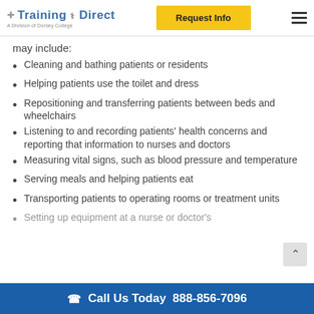Training Direct — A Division of Dorsey College | Request Info
may include:
Cleaning and bathing patients or residents
Helping patients use the toilet and dress
Repositioning and transferring patients between beds and wheelchairs
Listening to and recording patients' health concerns and reporting that information to nurses and doctors
Measuring vital signs, such as blood pressure and temperature
Serving meals and helping patients eat
Transporting patients to operating rooms or treatment units
Setting up equipment at a nurse or doctor's
Call Us Today  888-856-7096